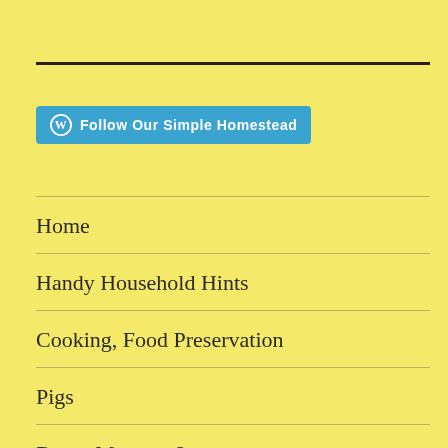[Figure (other): WordPress Follow button: 'Follow Our Simple Homestead' in cyan/blue with WordPress logo icon]
Home
Handy Household Hints
Cooking, Food Preservation
Pigs
Down Memory Lane
Contact